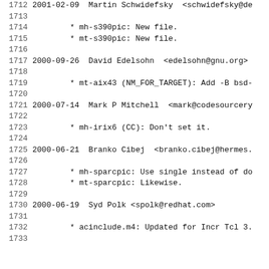1712  2001-02-09  Martin Schwidefsky  <schwidefsky@de...
1713
1714        * mh-s390pic: New file.
1715        * mt-s390pic: New file.
1716
1717  2000-09-26  David Edelsohn  <edelsohn@gnu.org>
1718
1719        * mt-aix43 (NM_FOR_TARGET): Add -B bsd-...
1720
1721  2000-07-14  Mark P Mitchell  <mark@codesourcery...
1722
1723        * mh-irix6 (CC): Don't set it.
1724
1725  2000-06-21  Branko Cibej  <branko.cibej@hermes....
1726
1727        * mh-sparcpic: Use single instead of do...
1728        * mt-sparcpic: Likewise.
1729
1730  2000-06-19  Syd Polk <spolk@redhat.com>
1731
1732        * acinclude.m4: Updated for Incr Tcl 3....
1733